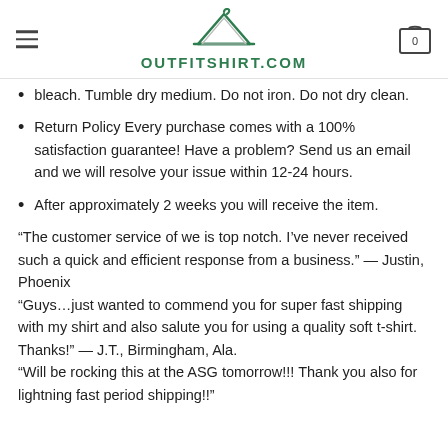OUTFITSHIRT.COM
bleach. Tumble dry medium. Do not iron. Do not dry clean.
Return Policy Every purchase comes with a 100% satisfaction guarantee! Have a problem? Send us an email and we will resolve your issue within 12-24 hours.
After approximately 2 weeks you will receive the item.
“The customer service of we is top notch. I’ve never received such a quick and efficient response from a business.” — Justin, Phoenix
“Guys…just wanted to commend you for super fast shipping with my shirt and also salute you for using a quality soft t-shirt. Thanks!” — J.T., Birmingham, Ala.
“Will be rocking this at the ASG tomorrow!!! Thank you also for lightning fast period shipping!!" — Diamond...